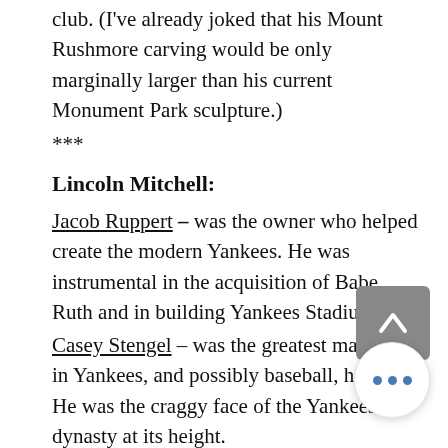club. (I've already joked that his Mount Rushmore carving would be only marginally larger than his current Monument Park sculpture.)
***
Lincoln Mitchell:
Jacob Ruppert – was the owner who helped create the modern Yankees. He was instrumental in the acquisition of Babe Ruth and in building Yankees Stadium.
Casey Stengel – was the greatest manager in Yankees, and possibly baseball, history. He was the craggy face of the Yankees dynasty at its height.
Joe Torre – was the manager during the Yankees most recent run of greatness and brought stability and maturity, a...